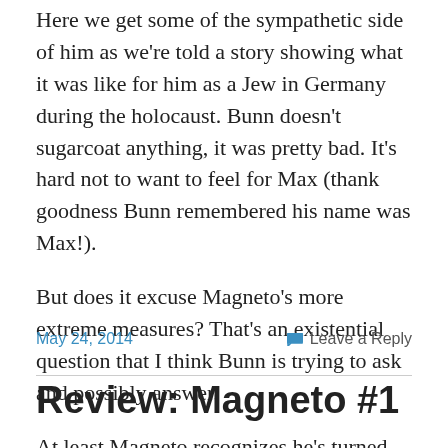Here we get some of the sympathetic side of him as we're told a story showing what it was like for him as a Jew in Germany during the holocaust. Bunn doesn't sugarcoat anything, it was pretty bad. It's hard not to want to feel for Max (thank goodness Bunn remembered his name was Max!).
But does it excuse Magneto's more extreme measures? That's an existential question that I think Bunn is trying to ask and possibly answer.
At least Magneto recognizes he's turned into a kind of monster, but how far will that realization get him?
May 24, 2014   Leave a Reply
Review: Magneto #1